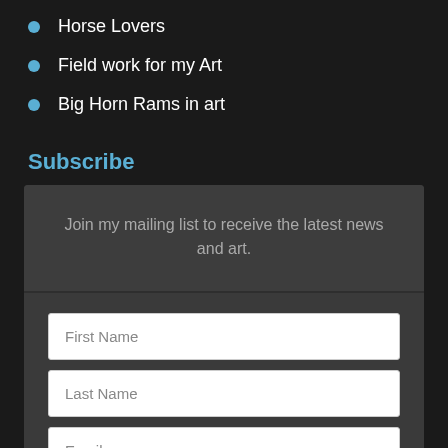Horse Lovers
Field work for my Art
Big Horn Rams in art
Subscribe
Join my mailing list to receive the latest news and art.
First Name
Last Name
Email